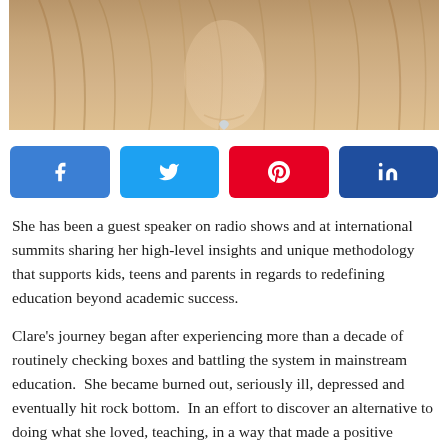[Figure (photo): Partial photo of a blonde woman with long hair, cropped showing hair and a necklace with a heart pendant, against a light background.]
[Figure (infographic): Row of four social share buttons: Facebook (blue), Twitter (light blue), Pinterest (red), LinkedIn (dark blue)]
She has been a guest speaker on radio shows and at international summits sharing her high-level insights and unique methodology that supports kids, teens and parents in regards to redefining education beyond academic success.
Clare's journey began after experiencing more than a decade of routinely checking boxes and battling the system in mainstream education.  She became burned out, seriously ill, depressed and eventually hit rock bottom.  In an effort to discover an alternative to doing what she loved, teaching, in a way that made a positive impact, she launched her own well-being